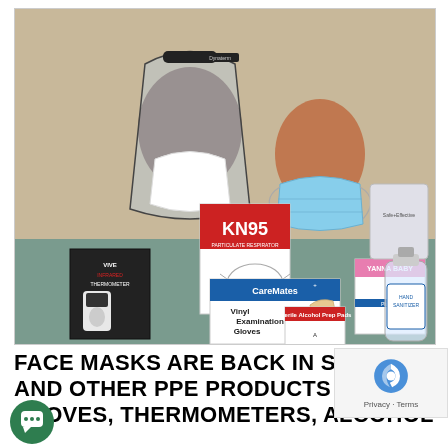[Figure (photo): Photo of PPE products on a table: two mannequin heads wearing face shields and masks (one with KN95 and face shield, one with blue surgical mask), with boxes of KN95 masks, Vive infrared thermometer, CareMates vinyl examination gloves, alcohol prep pads, Yanna Baby masks, a bag of wipes, and a hand sanitizer bottle.]
FACE MASKS ARE BACK IN STOCK AND OTHER PPE PRODUCTS LIKE GLOVES, THERMOMETERS, ALCOHOL